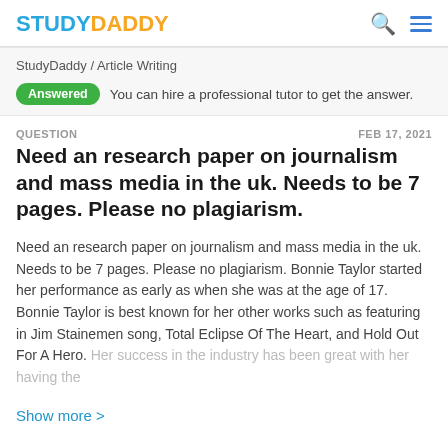STUDYDADDY
StudyDaddy / Article Writing
Answered   You can hire a professional tutor to get the answer.
QUESTION   FEB 17, 2021
Need an research paper on journalism and mass media in the uk. Needs to be 7 pages. Please no plagiarism.
Need an research paper on journalism and mass media in the uk. Needs to be 7 pages. Please no plagiarism. Bonnie Taylor started her performance as early as when she was at the age of 17. Bonnie Taylor is best known for her other works such as featuring in Jim Stainemen song, Total Eclipse Of The Heart, and Hold Out For A Hero. Her success in the industry has been great with her having the
Show more >